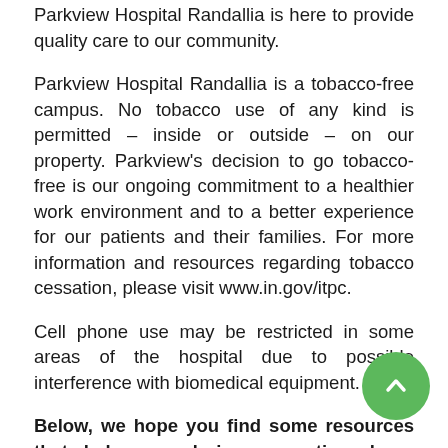Parkview Hospital Randallia is here to provide quality care to our community.
Parkview Hospital Randallia is a tobacco-free campus. No tobacco use of any kind is permitted – inside or outside – on our property. Parkview's decision to go tobacco-free is our ongoing commitment to a healthier work environment and to a better experience for our patients and their families. For more information and resources regarding tobacco cessation, please visit www.in.gov/itpc.
Cell phone use may be restricted in some areas of the hospital due to possible interference with biomedical equipment.
Below, we hope you find some resources that help you during your time here, whether as a patient or visitor.